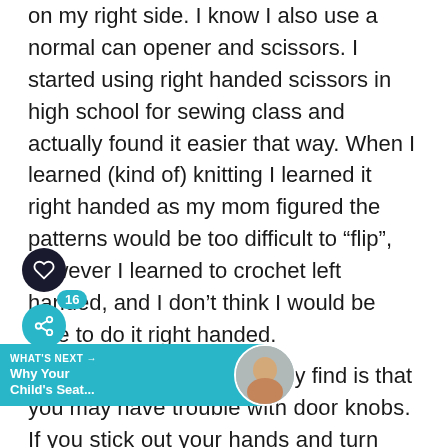on my right side. I know I also use a normal can opener and scissors. I started using right handed scissors in high school for sewing class and actually found it easier that way. When I learned (kind of) knitting I learned it right handed as my mom figured the patterns would be too difficult to “flip”, however I learned to crochet left handed, and I don’t think I would be able to do it right handed.
An interesting thing you may find is that you may have trouble with door knobs. If you stick out your hands and turn your